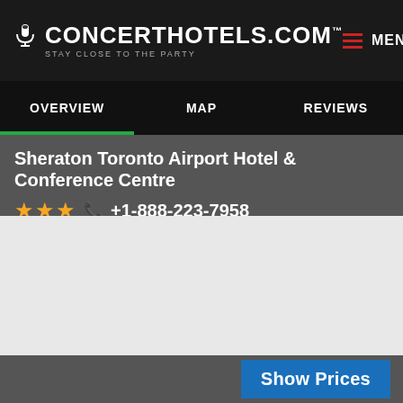CONCERTHOTELS.COM™ STAY CLOSE TO THE PARTY
OVERVIEW | MAP | REVIEWS
Sheraton Toronto Airport Hotel & Conference Centre ★★★ +1-888-223-7958
[Figure (map): Embedded map area showing hotel location, light grey background placeholder]
Show Prices